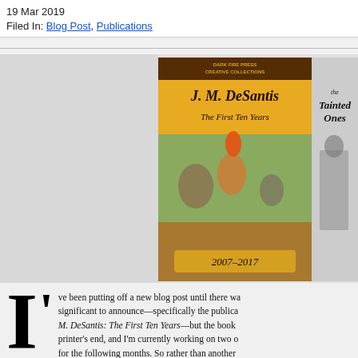19 Mar 2019
Filed In: Blog Post, Publications
[Figure (photo): Three book covers side by side: 'J. M. DeSantis: The First Ten Years' (colorful illustrated cover, 2007-2017), 'The Tainted Ones' (black and white illustrated cover with armored figure), and a partially visible third cover starting with 'RO' and 'PH'.]
I've been putting off a new blog post until there was something significant to announce—specifically the publication of J. M. DeSantis: The First Ten Years—but the book is delayed at the printer's end, and I'm currently working on two other projects for the following months. So rather than another wait without any word, I figured an update would at least be w